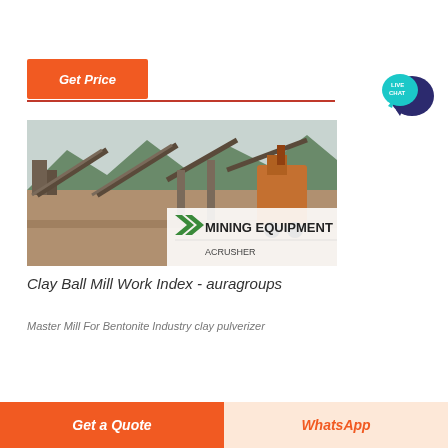Get Price
[Figure (illustration): Live Chat speech bubble icon with teal and dark blue colors, text LIVE CHAT]
[Figure (photo): Mining equipment facility with conveyor belts and heavy machinery, mountains in background. Overlay logo reads MINING EQUIPMENT ACRUSHER with green chevron marks.]
Clay Ball Mill Work Index - auragroups
Master Mill For Bentonite Industry clay pulverizer
Get a Quote
WhatsApp